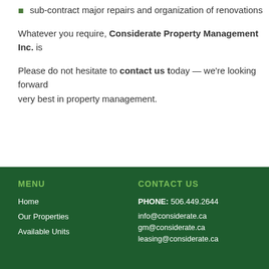sub-contract major repairs and organization of renovations
Whatever you require, Considerate Property Management Inc. is
Please do not hesitate to contact us today — we're looking forward to providing the very best in property management.
MENU | Home | Our Properties | Available Units | CONTACT US | PHONE: 506.449.2644 | info@considerate.ca | gm@considerate.ca | leasing@considerate.ca